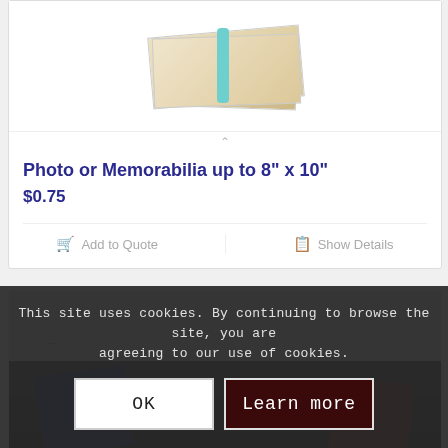[Figure (photo): Folded papers or documents bundled with a light blue rubber band, photographed on white background]
Photo or Memorabilia up to 8" x 10"
$0.75
Add to Quote  |  Show Details
[Figure (photo): Partial view of a product card showing granite surface and dark folded clothing items (shirts)]
This site uses cookies. By continuing to browse the site, you are agreeing to our use of cookies.
OK  |  Learn more